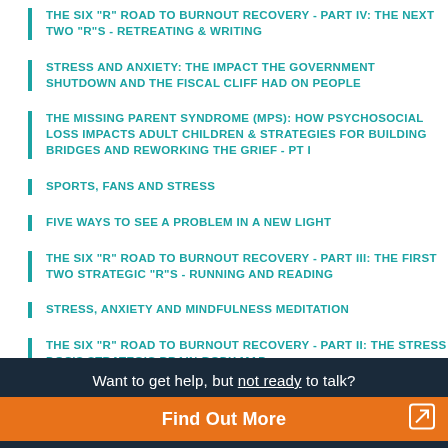THE SIX "R" ROAD TO BURNOUT RECOVERY - PART IV: THE NEXT TWO "R"S - RETREATING & WRITING
STRESS AND ANXIETY: THE IMPACT THE GOVERNMENT SHUTDOWN AND THE FISCAL CLIFF HAD ON PEOPLE
THE MISSING PARENT SYNDROME (MPS): HOW PSYCHOSOCIAL LOSS IMPACTS ADULT CHILDREN & STRATEGIES FOR BUILDING BRIDGES AND REWORKING THE GRIEF - PT I
SPORTS, FANS AND STRESS
FIVE WAYS TO SEE A PROBLEM IN A NEW LIGHT
THE SIX "R" ROAD TO BURNOUT RECOVERY - PART III: THE FIRST TWO STRATEGIC "R"S - RUNNING AND READING
STRESS, ANXIETY AND MINDFULNESS MEDITATION
THE SIX "R" ROAD TO BURNOUT RECOVERY - PART II: THE STRESS DOC'S STRATEGIC BRAIN-BODY MAP
Want to get help, but not ready to talk? Find Out More